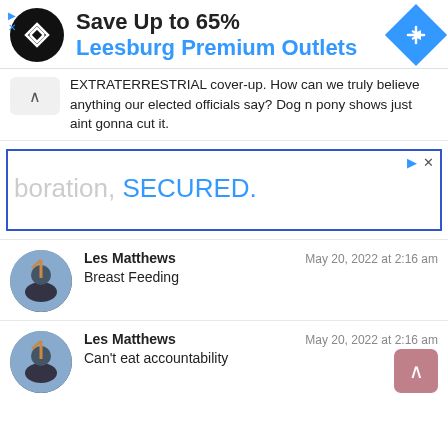[Figure (infographic): Advertisement banner: black circular logo with arrow symbol, text 'Save Up to 65%' and 'Leesburg Premium Outlets' in blue, blue diamond navigation icon on right]
EXTRATERRESTRIAL cover-up. How can we truly believe anything our elected officials say? Dog n pony shows just aint gonna cut it.
[Figure (screenshot): Advertisement box with blue border, ad controls (play and X icons), text 'boration, SECURED.' in light blue]
Les Matthews
May 20, 2022 at 2:16 am
Breast Feeding
Les Matthews
May 20, 2022 at 2:16 am
Can't eat accountability